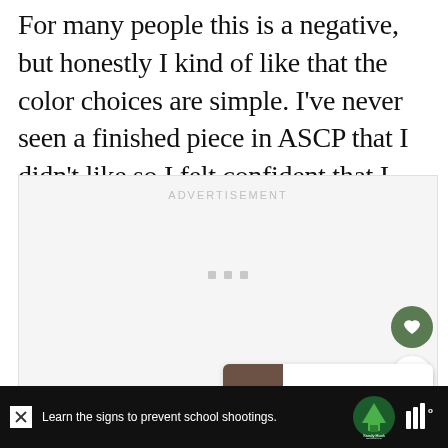For many people this is a negative, but honestly I kind of like that the color choices are simple. I've never seen a finished piece in ASCP that I didn't like so I felt confident that I was getting a great color paint.
[Figure (screenshot): Advertisement placeholder box with 'ADVERTISEMENT' label and three gray dots. Contains floating heart (green circle) and share buttons on the right. A 'WHAT'S NEXT' card in the bottom right shows a brown furniture image with text '13+ Gray Furniture...']
[Figure (screenshot): Black banner advertisement at the bottom: 'Learn the signs to prevent school shootings.' with Sandy Hook Promise logo (green tree) and another logo. Has a close X button.]